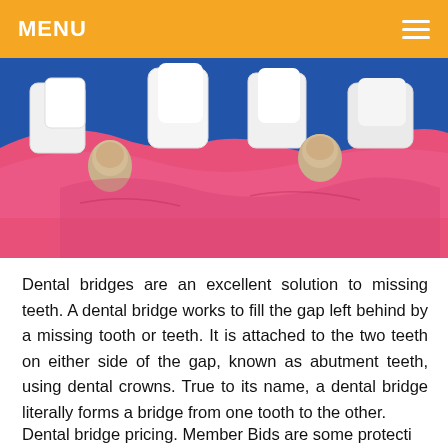MENU
[Figure (illustration): 3D medical illustration of dental bridge procedure showing lower jaw with pink gums, white teeth, and two prepared abutment teeth (tan/gold colored) on either side of a gap, against a blue background.]
Dental bridges are an excellent solution to missing teeth. A dental bridge works to fill the gap left behind by a missing tooth or teeth. It is attached to the two teeth on either side of the gap, known as abutment teeth, using dental crowns. True to its name, a dental bridge literally forms a bridge from one tooth to the other.
Dental bridge pricing. Member Bids are some protective